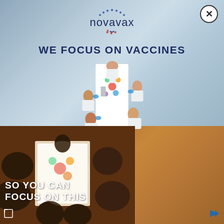[Figure (logo): Novavax logo with dotted arc above text and stars below]
[Figure (other): Close/X button in upper right corner]
WE FOCUS ON VACCINES
[Figure (photo): Overhead view of scientists in white lab coats working around a white table with colorful samples and lab materials]
[Figure (photo): Bottom left: warm-toned overhead view of people gathered around a table, partially overlapping with brown wood-grain background]
SO YOU CAN FOCUS ON THIS
[Figure (other): Small expand/fullscreen icon in bottom left corner]
[Figure (other): Small play/forward icon in bottom right corner]